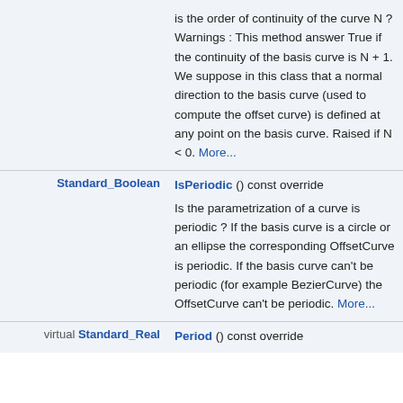| Type | Member |
| --- | --- |
|  | is the order of continuity of the curve N ? Warnings : This method answer True if the continuity of the basis curve is N + 1. We suppose in this class that a normal direction to the basis curve (used to compute the offset curve) is defined at any point on the basis curve. Raised if N < 0. More... |
| Standard_Boolean | IsPeriodic () const override
Is the parametrization of a curve is periodic ? If the basis curve is a circle or an ellipse the corresponding OffsetCurve is periodic. If the basis curve can't be periodic (for example BezierCurve) the OffsetCurve can't be periodic. More... |
| virtual Standard_Real | Period () const override |